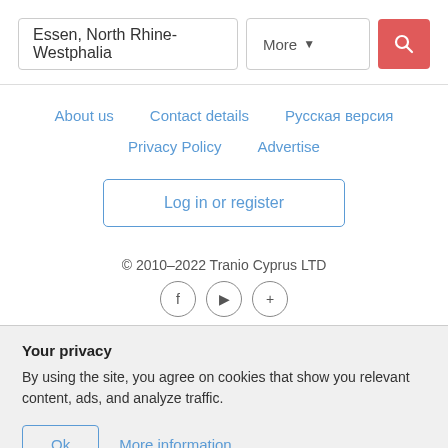[Figure (screenshot): Search bar with text 'Essen, North Rhine-Westphalia', a 'More' dropdown button, and a red search icon button]
About us
Contact details
Русская версия
Privacy Policy
Advertise
Log in or register
© 2010–2022 Tranio Cyprus LTD
Your privacy
By using the site, you agree on cookies that show you relevant content, ads, and analyze traffic.
Ok
More information